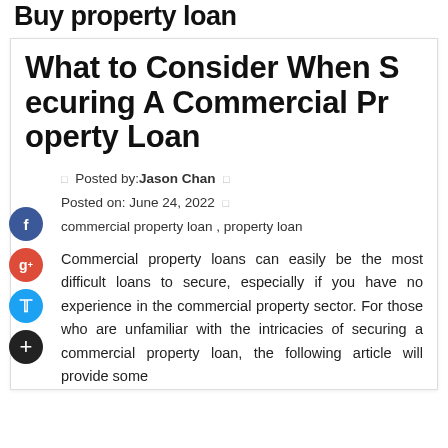Buy property loan
What to Consider When Securing A Commercial Property Loan
Posted by: Jason Chan
Posted on: June 24, 2022
commercial property loan , property loan
Commercial property loans can easily be the most difficult loans to secure, especially if you have no experience in the commercial property sector. For those who are unfamiliar with the intricacies of securing a commercial property loan, the following article will provide some